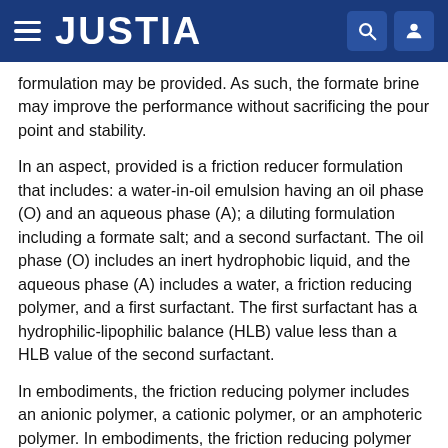JUSTIA
formulation may be provided. As such, the formate brine may improve the performance without sacrificing the pour point and stability.
In an aspect, provided is a friction reducer formulation that includes: a water-in-oil emulsion having an oil phase (O) and an aqueous phase (A); a diluting formulation including a formate salt; and a second surfactant. The oil phase (O) includes an inert hydrophobic liquid, and the aqueous phase (A) includes a water, a friction reducing polymer, and a first surfactant. The first surfactant has a hydrophilic-lipophilic balance (HLB) value less than a HLB value of the second surfactant.
In embodiments, the friction reducing polymer includes an anionic polymer, a cationic polymer, or an amphoteric polymer. In embodiments, the friction reducing polymer includes an anionic polymer. In